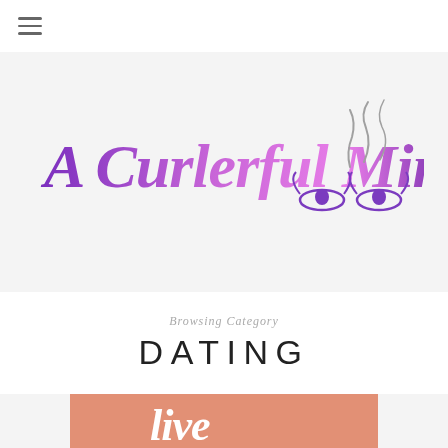[Figure (logo): Hamburger menu icon with three horizontal lines]
[Figure (logo): A Curlerful Mind blog logo with stylized script text in purple and pink gradient, with decorative eyes and smoke illustration]
Browsing Category
DATING
[Figure (illustration): Peach/salmon colored textured background with decorative white cursive script text starting with 'live']